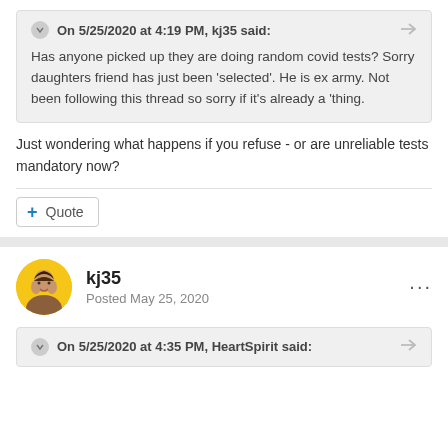On 5/25/2020 at 4:19 PM, kj35 said:
Has anyone picked up they are doing random covid tests? Sorry daughters friend has just been 'selected'. He is ex army. Not been following this thread so sorry if it's already a 'thing.
Just wondering what happens if you refuse - or are unreliable tests mandatory now?
+ Quote
kj35
Posted May 25, 2020
On 5/25/2020 at 4:35 PM, HeartSpirit said: